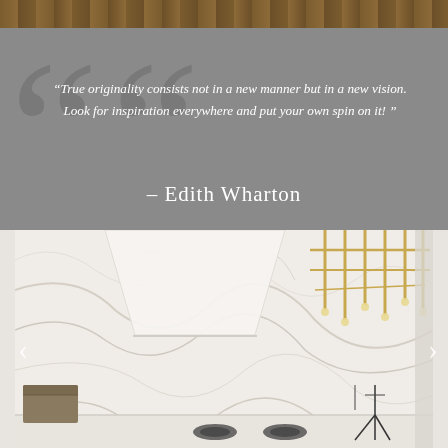[Figure (photo): Decorative top section with a gray background showing large background quotation mark characters and a wood-panel strip at the very top.]
“True originality consists not in a new manner but in a new vision. Look for inspiration everywhere and put your own spin on it! ”
– Edith Wharton
[Figure (photo): Interior kitchen photo showing white marble walls and backsplash with grey veining, a white range hood, a modern gold/brass multi-arm candelabra-style chandelier, stove burners visible at bottom, and a small wooden box on the left. Navigation arrows on left and right sides.]